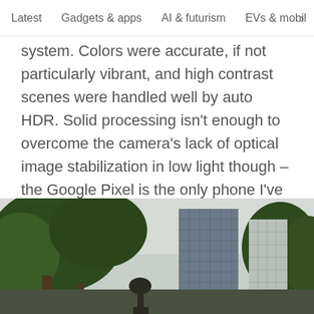Latest   Gadgets & apps   AI & futurism   EVs & mobil >
system. Colors were accurate, if not particularly vibrant, and high contrast scenes were handled well by auto HDR. Solid processing isn't enough to overcome the camera's lack of optical image stabilization in low light though – the Google Pixel is the only phone I've seen get away with that omission. Still, as long as you have a steady hand, the results are decent.
[Figure (photo): Outdoor urban scene showing trees in the foreground and tall city buildings (a modern glass skyscraper and a white high-rise) in the background under an overcast sky, with a statue visible at the bottom center.]